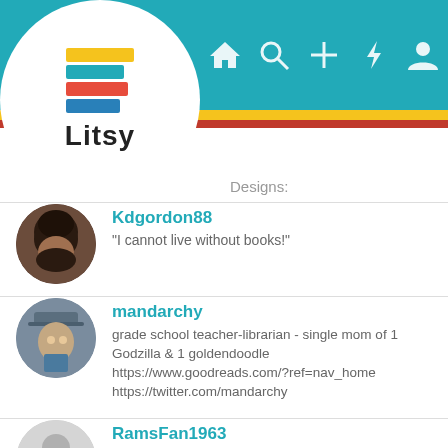[Figure (screenshot): Litsy app navigation bar with teal background, logo circle with stacked colorful book spines and 'Litsy' text, and nav icons (home, search, plus, lightning, profile)]
Designs:
[Figure (photo): Profile photo of Kdgordon88 - person with dark curly hair seen from behind]
Kdgordon88
"I cannot live without books!"
[Figure (photo): Profile photo of mandarchy - person with hat, blue tones]
mandarchy
grade school teacher-librarian - single mom of 1 Godzilla & 1 goldendoodle
https://www.goodreads.com/?ref=nav_home
https://twitter.com/mandarchy
[Figure (illustration): Default grey avatar placeholder for RamsFan1963]
RamsFan1963
LA Rams Fan, Book Lover, Old School Comics Fan, Hufflepuff and Retail Warrior
[Figure (illustration): Default grey avatar placeholder for marleed]
marleed
To this Litten community: I can't imagine moving through a pandemic without you!